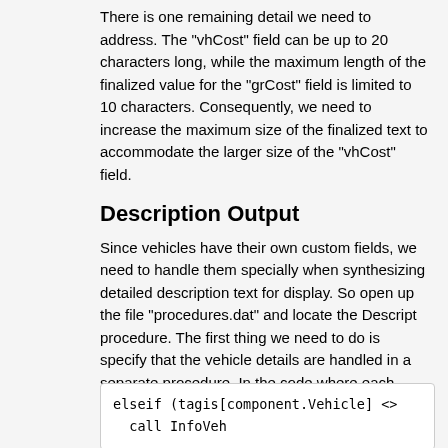There is one remaining detail we need to address. The "vhCost" field can be up to 20 characters long, while the maximum length of the finalized value for the "grCost" field is limited to 10 characters. Consequently, we need to increase the maximum size of the finalized text to accommodate the larger size of the "vhCost" field.
Description Output
Since vehicles have their own custom fields, we need to handle them specially when synthesizing detailed description text for display. So open up the file "procedures.dat" and locate the Descript procedure. The first thing we need to do is specify that the vehicle details are handled in a separate procedure. In the code where each component type is handled separately, add the lines shown below to invoke the proper procedure for vehicles.
elseif (tagis[component.Vehicle] <>
  call InfoVeh